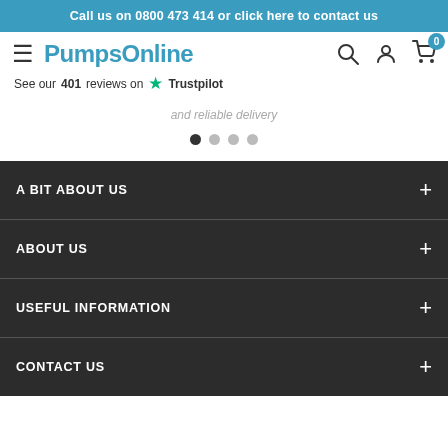Call us on 0800 473 414 or click here to contact us
[Figure (logo): PumpsOnline logo with hamburger menu icon]
See our 401 reviews on ★ Trustpilot
and reliable delivery
[Figure (other): Carousel navigation dots, 4 dots with first active]
A BIT ABOUT US
ABOUT US
USEFUL INFORMATION
CONTACT US